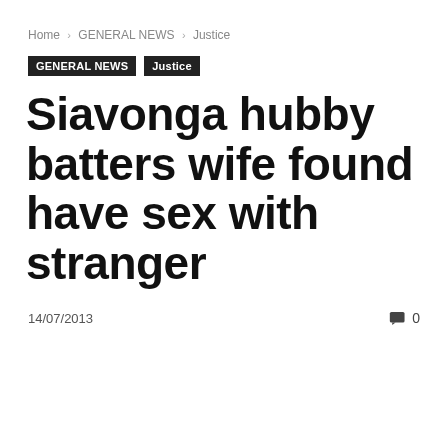Home › GENERAL NEWS › Justice
GENERAL NEWS   Justice
Siavonga hubby batters wife found have sex with stranger
14/07/2013   0